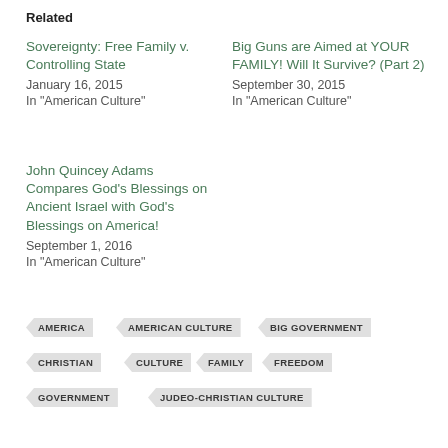Related
Sovereignty: Free Family v. Controlling State
January 16, 2015
In "American Culture"
Big Guns are Aimed at YOUR FAMILY! Will It Survive? (Part 2)
September 30, 2015
In "American Culture"
John Quincey Adams Compares God's Blessings on Ancient Israel with God's Blessings on America!
September 1, 2016
In "American Culture"
AMERICA
AMERICAN CULTURE
BIG GOVERNMENT
CHRISTIAN
CULTURE
FAMILY
FREEDOM
GOVERNMENT
JUDEO-CHRISTIAN CULTURE